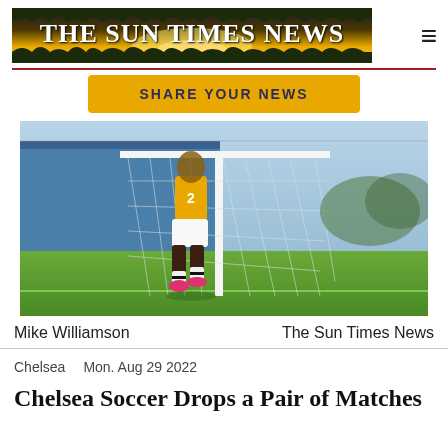The Sun Times News
SHARE YOUR NEWS
[Figure (photo): Soccer player in yellow jersey and white shorts standing near a goal net on a grass field]
Mike Williamson    The Sun Times News
Chelsea    Mon. Aug 29 2022
Chelsea Soccer Drops a Pair of Matches